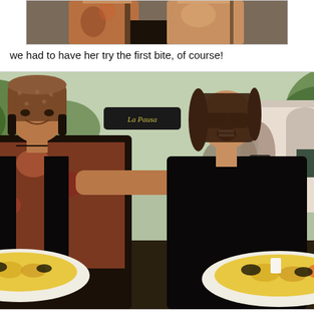[Figure (photo): Partial photo at top of page showing two people from shoulders/torso up, cropped, against a dark background — appears to be same subjects as the main photo below.]
we had to have her try the first bite, of course!
[Figure (photo): Outdoor photo of a man wearing a brown bandana and paisley shirt feeding a woman wearing sunglasses and a black tank top. Both are holding white plates of yellow rice/paella dish. A 'La Pausa' sign and a white building with an arch are visible in the background, along with a crowd of people.]